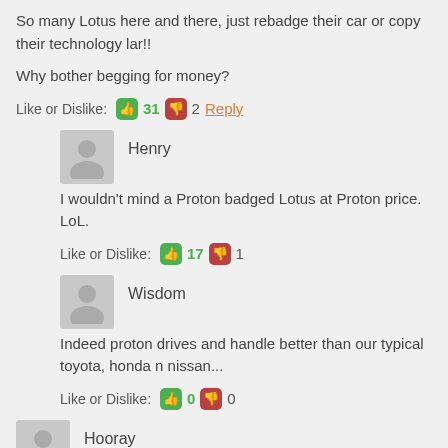So many Lotus here and there, just rebadge their car or copy their technology lar!!
Why bother begging for money?
Like or Dislike: 31 2 Reply
Henry
I wouldn't mind a Proton badged Lotus at Proton price. LoL.
Like or Dislike: 17 1
Wisdom
Indeed proton drives and handle better than our typical toyota, honda n nissan...
Like or Dislike: 0 0
Hooray
odd few more +